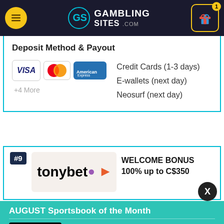GamblingS ites.com — header navigation
Deposit Method & Payout
Credit Cards (1-3 days)
E-wallets (next day)
Neosurf (next day)
[Figure (logo): Payment method logos: VISA, MasterCard, Amex, +4 More]
[Figure (logo): #9 tonybet logo with WELCOME BONUS 100% up to C$350]
WELCOME BONUS
100% up to C$350
AUGUST Sportsbook of the Month
[Figure (logo): BetOnline.ag logo]
Welcome Bonus
50% up to $1,000
VISIT SITE